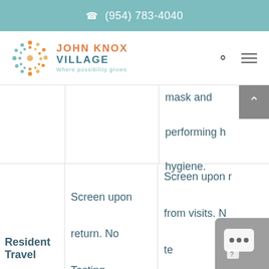(954) 783-4040
[Figure (logo): John Knox Village logo with colorful circular snowflake design and text 'JOHN KNOX VILLAGE Where possibility grows']
mask and performing hand hygiene.
Screen upon return. No Testing Requirement
Screen upon return from visits. No testing Requirement
Resident Travel